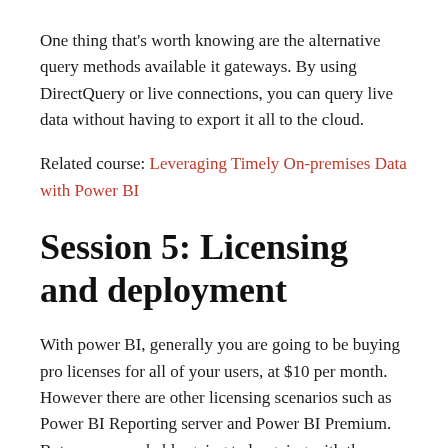One thing that's worth knowing are the alternative query methods available it gateways. By using DirectQuery or live connections, you can query live data without having to export it all to the cloud.
Related course: Leveraging Timely On-premises Data with Power BI
Session 5: Licensing and deployment
With power BI, generally you are going to be buying pro licenses for all of your users, at $10 per month. However there are other licensing scenarios such as Power BI Reporting server and Power BI Premium. But you are probably going to be going with the pro license.